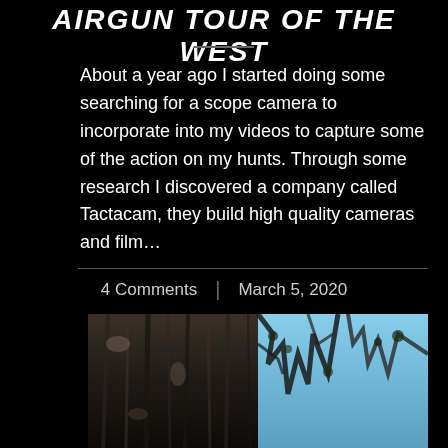AIRGUN TOUR OF THE WEST
About a year ago I started doing some searching for a scope camera to incorporate into my videos to capture some of the action on my hunts. Through some research I discovered a company called Tactacam, they build high quality cameras and film…
4 Comments | March 5, 2020
[Figure (photo): Outdoor photo showing a large tree trunk with textured bark on the left side, and a blue sky with tree branches visible on the right side]